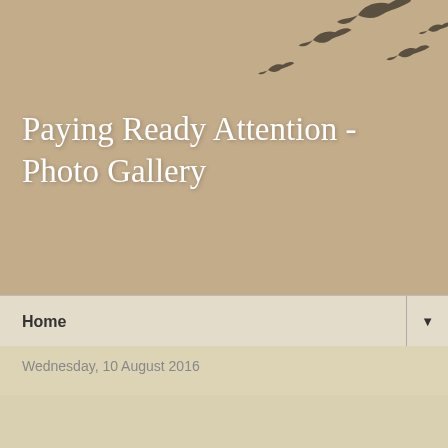Paying Ready Attention - Photo Gallery
Home
Wednesday, 10 August 2016
Wild Bird Wednesday 211 - Emu
The Emu is the second largest bird in the world - standing up to 2m tall and weighing in at 35 to 40 kg they are an impressive bird to meet in the wild. They are flightless and at times can be rather shy.
These birds were feeding at a location at Wilsons Promontory know to us (and probably almost no-one else) as "Icon Field", due to it tendency to hold wildlife icons such as Emus, Wombats and Kangaroos. It is intact an area that